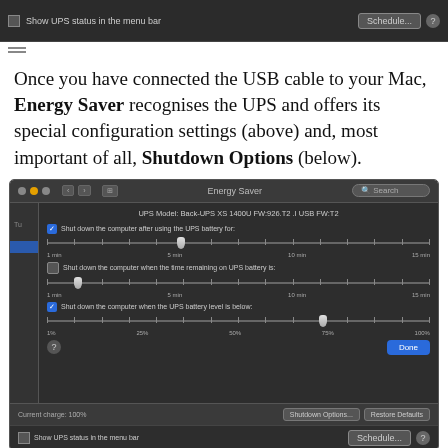[Figure (screenshot): Top strip of macOS Energy Saver panel showing 'Show UPS status in the menu bar' checkbox, Schedule button, and hamburger menu icon on dark background]
Once you have connected the USB cable to your Mac, Energy Saver recognises the UPS and offers its special configuration settings (above) and, most important of all, Shutdown Options (below).
[Figure (screenshot): macOS Energy Saver window showing UPS shutdown options: UPS Model Back-UPS XS 1400U FW:926.T2 .I USB FW:T2, three sliders for shutdown conditions (after battery use, when time remaining, when battery level below), Done button, footer with Current charge 100%, Shutdown Options and Restore Defaults buttons, and Show UPS status in menu bar checkbox]